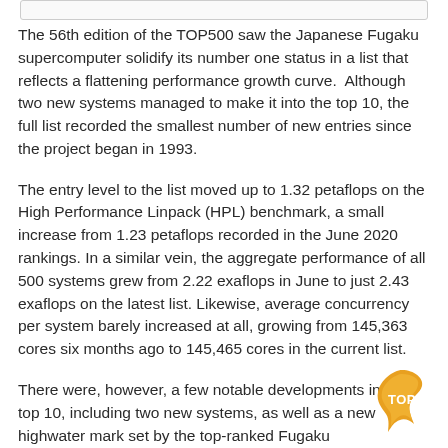The 56th edition of the TOP500 saw the Japanese Fugaku supercomputer solidify its number one status in a list that reflects a flattening performance growth curve.  Although two new systems managed to make it into the top 10, the full list recorded the smallest number of new entries since the project began in 1993.
The entry level to the list moved up to 1.32 petaflops on the High Performance Linpack (HPL) benchmark, a small increase from 1.23 petaflops recorded in the June 2020 rankings. In a similar vein, the aggregate performance of all 500 systems grew from 2.22 exaflops in June to just 2.43 exaflops on the latest list. Likewise, average concurrency per system barely increased at all, growing from 145,363 cores six months ago to 145,465 cores in the current list.
There were, however, a few notable developments in the top 10, including two new systems, as well as a new highwater mark set by the top-ranked Fugaku supercomputer. Thanks to
[Figure (logo): Orange/gold flame-shaped badge with 'TOP' text in white]